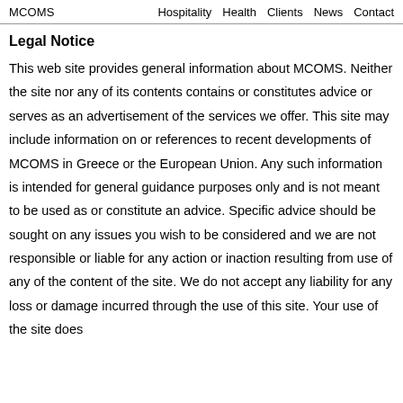MCOMS   Hospitality   Health   Clients   News   Contact
Legal Notice
This web site provides general information about MCOMS. Neither the site nor any of its contents contains or constitutes advice or serves as an advertisement of the services we offer. This site may include information on or references to recent developments of MCOMS in Greece or the European Union. Any such information is intended for general guidance purposes only and is not meant to be used as or constitute an advice. Specific advice should be sought on any issues you wish to be considered and we are not responsible or liable for any action or inaction resulting from use of any of the content of the site. We do not accept any liability for any loss or damage incurred through the use of this site. Your use of the site does